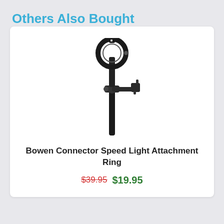Others Also Bought
[Figure (photo): Black Bowen Connector Speed Light Attachment Ring mounted on a stand — a circular ring bracket at the top connected via an articulating arm to a vertical pole with adjustment knobs.]
Bowen Connector Speed Light Attachment Ring
$39.95 $19.95